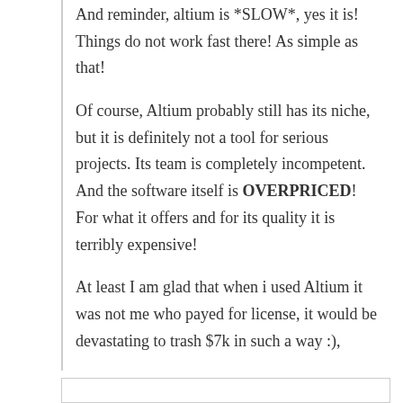And reminder, altium is *SLOW*, yes it is! Things do not work fast there! As simple as that!
Of course, Altium probably still has its niche, but it is definitely not a tool for serious projects. Its team is completely incompetent. And the software itself is OVERPRICED! For what it offers and for its quality it is terribly expensive!
At least I am glad that when i used Altium it was not me who payed for license, it would be devastating to trash $7k in such a way :),
Like
Reply